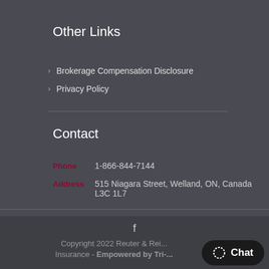Other Links
Brokerage Compensation Disclosure
Privacy Policy
Contact
Phone: 1-866-844-7144
Address: 515 Niagara Street, Welland, ON, Canada L3C 1L7
Copyright 2022 Reuter & Rei... Insurance - Empowered by Tri-...